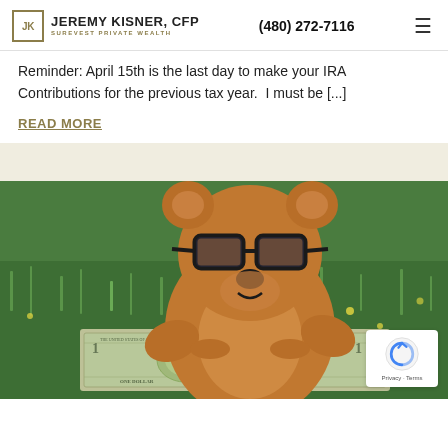JEREMY KISNER, CFP SUREVEST PRIVATE WEALTH | (480) 272-7116
Reminder: April 15th is the last day to make your IRA Contributions for the previous tax year.  I must be [...]
READ MORE
[Figure (photo): A brown teddy bear wearing black-rimmed glasses lying on green grass in front of a US one dollar bill.]